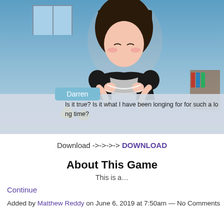[Figure (screenshot): Visual novel game screenshot showing an anime-style maid character with dark hair and a dialog box. The character 'Darren' has a name tag. Dialog reads: 'Is it true? Is it what I have been longing for for such a long time?']
Download ->->->-> DOWNLOAD
About This Game
This is a...
Continue
Added by Matthew Reddy on June 6, 2019 at 7:50am — No Comments